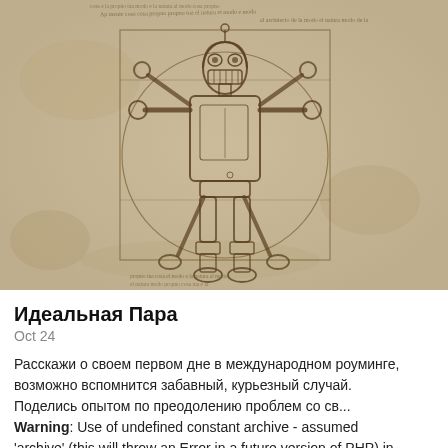[Figure (illustration): Vitruvian Man parody illustration in Da Vinci style on aged parchment background, with the character being Bender the robot from Futurama. The figure is shown inscribed in a circle and square, with arms and legs extended in the classical pose, drawn in sepia/brown ink on a yellowed parchment background. Handwritten text annotations appear at the top and bottom of the image.]
Идеальная Пара
Oct 24
Расскажи о своем первом дне в международном роуминге, возможно вспомнится забавный, курьезный случай. Поделись опытом по преодолению проблем со св... Warning: Use of undefined constant archive - assumed 'archive' (this will throw an Error in a future version of PHP) in